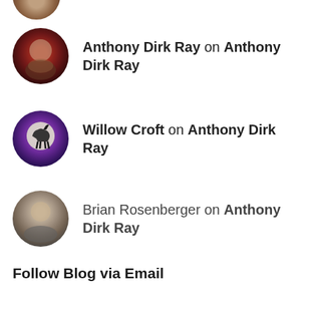[Figure (photo): Partial avatar image of a person at top of page, cropped]
Anthony Dirk Ray on Anthony Dirk Ray
Willow Croft on Anthony Dirk Ray
Brian Rosenberger on Anthony Dirk Ray
Follow Blog via Email
Enter your email address to follow this blog and receive notifications of new posts by email.
[Figure (other): Email input field with placeholder text 'Enter your email address']
[Figure (other): Follow button in teal/blue color]